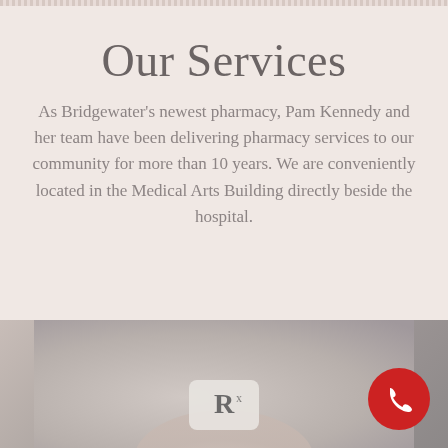Our Services
As Bridgewater's newest pharmacy, Pam Kennedy and her team have been delivering pharmacy services to our community for more than 10 years. We are conveniently located in the Medical Arts Building directly beside the hospital.
[Figure (photo): Photo of a pharmacy pill/tablet with an Rx label, blurred background, bottom portion of the page]